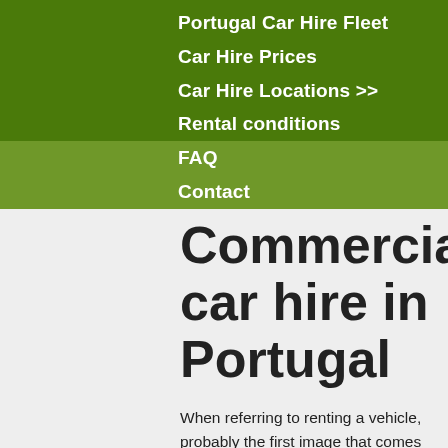Portugal Car Hire Fleet
Car Hire Prices
Car Hire Locations >>
Rental conditions
FAQ
Contact
Commercial car hire in Portugal
When referring to renting a vehicle, probably the first image that comes to mind is a five-seater car. But if one requires a cargo vehicle for their business or even for their personal use, to carry furniture or heavy items, Commercial car hire in Portugal is ready to come to the rescue.